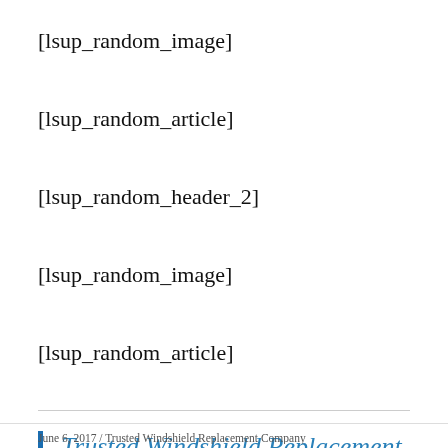[lsup_random_image]
[lsup_random_article]
[lsup_random_header_2]
[lsup_random_image]
[lsup_random_article]
Trusted Windshield Replacement Company Arizona
June 6, 2017 / Trusted Windshield Replacement Company